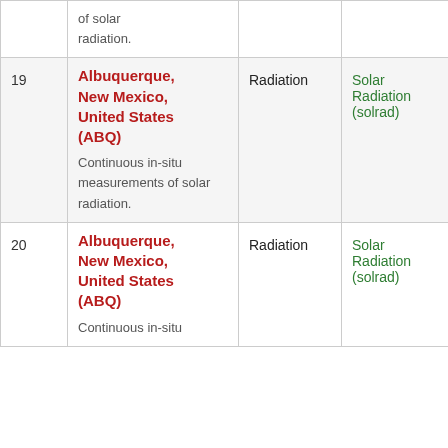| # | Location | Type | Sub-type | Observation |
| --- | --- | --- | --- | --- |
|  | of solar radiation. |  |  |  |
| 19 | Albuquerque, New Mexico, United States (ABQ)
Continuous in-situ measurements of solar radiation. | Radiation | Solar Radiation (solrad) | Insitu |
| 20 | Albuquerque, New Mexico, United States (ABQ)
Continuous in-situ measurements of solar radiation. | Radiation | Solar Radiation (solrad) | Insitu |